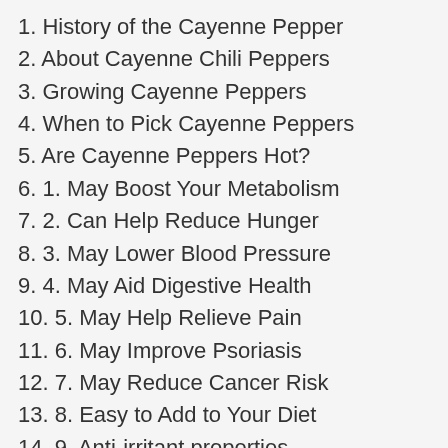1. History of the Cayenne Pepper
2. About Cayenne Chili Peppers
3. Growing Cayenne Peppers
4. When to Pick Cayenne Peppers
5. Are Cayenne Peppers Hot?
6. 1. May Boost Your Metabolism
7. 2. Can Help Reduce Hunger
8. 3. May Lower Blood Pressure
9. 4. May Aid Digestive Health
10. 5. May Help Relieve Pain
11. 6. May Improve Psoriasis
12. 7. May Reduce Cancer Risk
13. 8. Easy to Add to Your Diet
14. 9. Anti-irritant properties
15. 10. Eliminates congestion